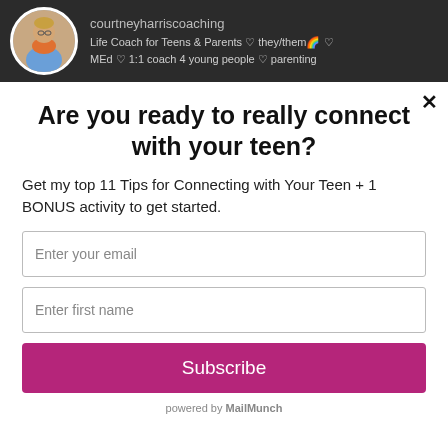[Figure (photo): Instagram profile header showing courtneyharriscoaching avatar photo (person in orange top and blue overalls) with username and bio]
Are you ready to really connect with your teen?
Get my top 11 Tips for Connecting with Your Teen + 1 BONUS activity to get started.
Enter your email
Enter first name
Subscribe
powered by MailMunch